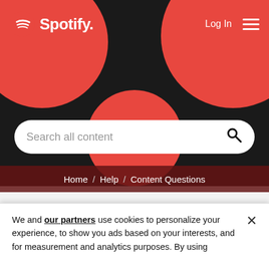[Figure (screenshot): Spotify website header with black background, red decorative circles, Spotify logo with concentric arcs icon in top-left, Log In link and hamburger menu in top-right, and a white rounded search bar reading 'Search all content']
Home / Help / Content Questions
Topics with Label: 2019
(1)
We and our partners use cookies to personalize your experience, to show you ads based on your interests, and for measurement and analytics purposes. By using